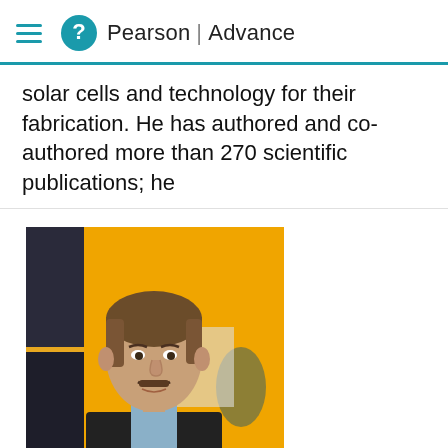Pearson | Advance
solar cells and technology for their fabrication. He has authored and co-authored more than 270 scientific publications; he
[Figure (photo): Headshot photo of a middle-aged man with brown hair and a mustache, wearing a dark blazer and light blue shirt, photographed against a yellow/orange background in what appears to be an office or classroom setting.]